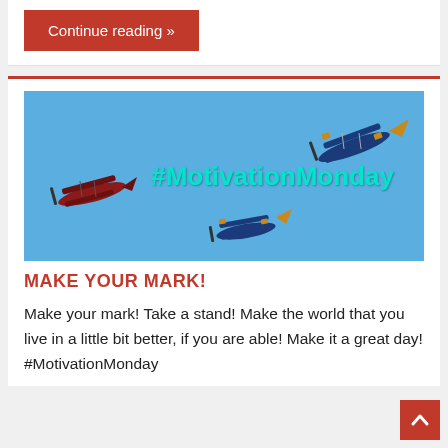Continue reading »
[Figure (photo): Three vintage biplanes flying against a blue sky with the text '#MotivationMonday' overlaid in cyan]
MAKE YOUR MARK!
Make your mark! Take a stand! Make the world that you live in a little bit better, if you are able! Make it a great day! #MotivationMonday